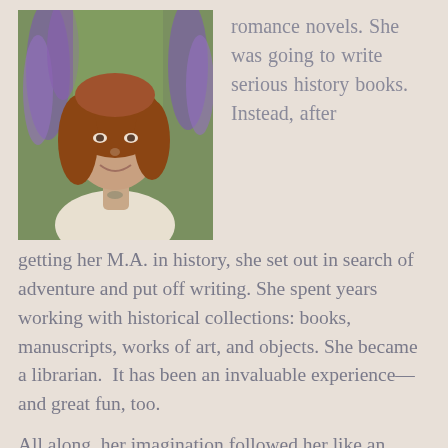[Figure (photo): Portrait photo of a middle-aged woman with reddish-brown hair, smiling, wearing a white top, with purple wisteria flowers in the background.]
romance novels. She was going to write serious history books. Instead, after getting her M.A. in history, she set out in search of adventure and put off writing. She spent years working with historical collections: books, manuscripts, works of art, and objects. She became a librarian.  It has been an invaluable experience—and great fun, too.
All along, her imagination followed her like an irritating shadow. It lurked over her shoulder and whispered about the possibilities when Ann should be doing something different than paying attention to that pesky companion. But it kept sticking its (imaginary) nose into the books Ann cataloged, read with her the manuscripts she arranged,